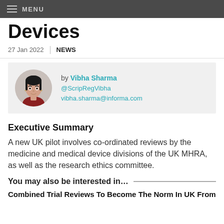MENU
Devices
27 Jan 2022 | NEWS
[Figure (photo): Circular portrait photo of Vibha Sharma, author. Text: by Vibha Sharma, @ScripRegVibha, vibha.sharma@informa.com]
Executive Summary
A new UK pilot involves co-ordinated reviews by the medicine and medical device divisions of the UK MHRA, as well as the research ethics committee.
You may also be interested in…
Combined Trial Reviews To Become The Norm In UK From